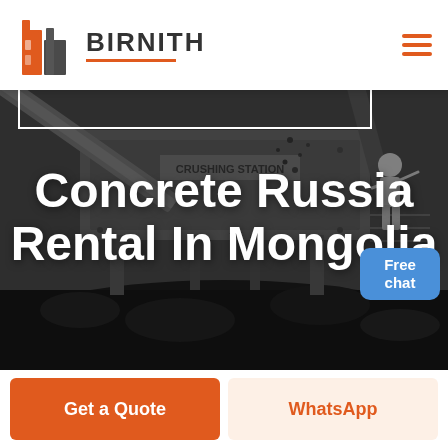BIRNITH
[Figure (photo): Dark industrial photo of a crushing station / mining equipment with conveyor belts and machinery, coal/rock pile visible at bottom]
Concrete Russia Rental In Mongolia
Free chat
Get a Quote
WhatsApp